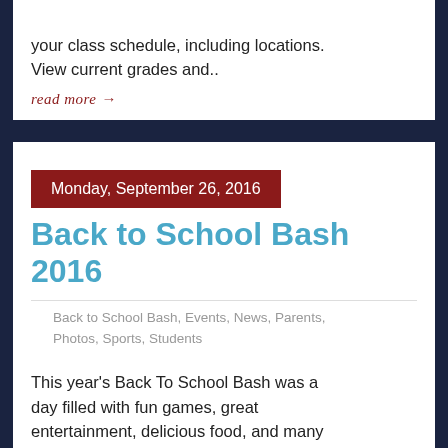your class schedule, including locations. View current grades and..
read more →
Monday, September 26, 2016
Back to School Bash 2016
Back to School Bash, Events, News, Parents, Photos, Sports, Students
This year's Back To School Bash was a day filled with fun games, great entertainment, delicious food, and many educational activities for our students! Most of all, It was a great time for all our